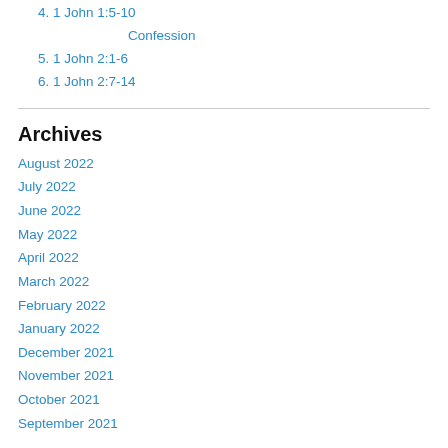4. 1 John 1:5-10
Confession
5. 1 John 2:1-6
6. 1 John 2:7-14
Archives
August 2022
July 2022
June 2022
May 2022
April 2022
March 2022
February 2022
January 2022
December 2021
November 2021
October 2021
September 2021